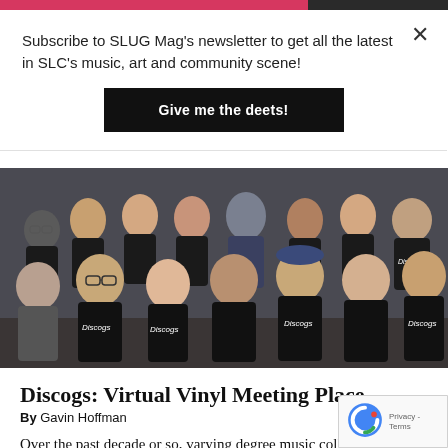Subscribe to SLUG Mag's newsletter to get all the latest in SLC's music, art and community scene!
Give me the deets!
[Figure (photo): Group photo of Discogs employees wearing black Discogs branded t-shirts and hoodies, posing together indoors in two rows.]
Discogs: Virtual Vinyl Meeting Place
By Gavin Hoffman
Over the past decade or so, varying degrees of music collectors worldwide have seemingly begun to defect from large online retailers like